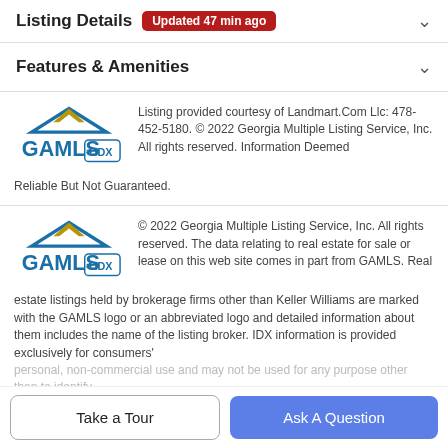Listing Details Updated 47 min ago
Features & Amenities
Listing provided courtesy of Landmart.Com Llc: 478-452-5180. © 2022 Georgia Multiple Listing Service, Inc. All rights reserved. Information Deemed Reliable But Not Guaranteed.
© 2022 Georgia Multiple Listing Service, Inc. All rights reserved. The data relating to real estate for sale or lease on this web site comes in part from GAMLS. Real estate listings held by brokerage firms other than Keller Williams are marked with the GAMLS logo or an abbreviated logo and detailed information about them includes the name of the listing broker. IDX information is provided exclusively for consumers'
Take a Tour
Ask A Question